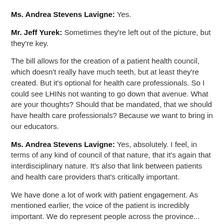Ms. Andrea Stevens Lavigne: Yes.
Mr. Jeff Yurek: Sometimes they're left out of the picture, but they're key.
The bill allows for the creation of a patient health council, which doesn't really have much teeth, but at least they're created. But it's optional for health care professionals. So I could see LHINs not wanting to go down that avenue. What are your thoughts? Should that be mandated, that we should have health care professionals? Because we want to bring in our educators.
Ms. Andrea Stevens Lavigne: Yes, absolutely. I feel, in terms of any kind of council of that nature, that it's again that interdisciplinary nature. It's also that link between patients and health care providers that's critically important.
We have done a lot of work with patient engagement. As mentioned earlier, the voice of the patient is incredibly important. We do represent people across the province...